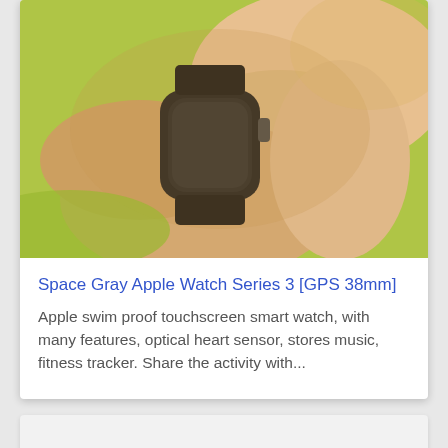[Figure (photo): Close-up photo of hands holding an Apple Watch, showing the watch face and digital crown against a green background]
Space Gray Apple Watch Series 3 [GPS 38mm]
Apple swim proof touchscreen smart watch, with many features, optical heart sensor, stores music, fitness tracker. Share the activity with...